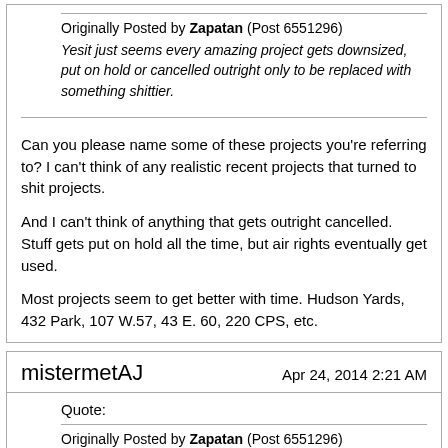Originally Posted by Zapatan (Post 6551296)
Yesit just seems every amazing project gets downsized, put on hold or cancelled outright only to be replaced with something shittier.
Can you please name some of these projects you're referring to? I can't think of any realistic recent projects that turned to shit projects.
And I can't think of anything that gets outright cancelled. Stuff gets put on hold all the time, but air rights eventually get used.
Most projects seem to get better with time. Hudson Yards, 432 Park, 107 W.57, 43 E. 60, 220 CPS, etc.
mistermetAJ
Apr 24, 2014 2:21 AM
Quote:
Originally Posted by Zapatan (Post 6551296)
Yes I know, and I really don't want to be that guy or seem like a downer or anything because I love NY and the USA but it just seems every amazing project gets downsized, put on hold or cancelled outright only to be replaced with something shittier. I'm not saying this always happens or that it will happen this time but I also don't see why my hopes should be super high either... just my two cents.